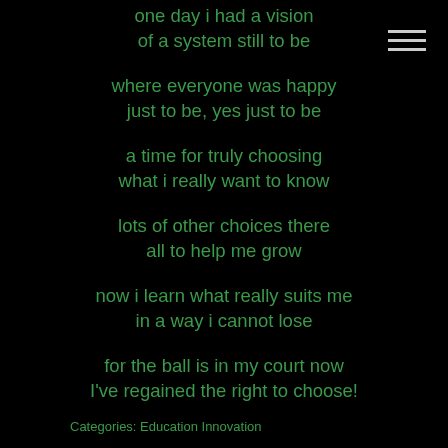one day i had a vision
of a system still to be

where everyone was happy
just to be, yes just to be

a time for truly choosing
what i really want to know

lots of other choices there
all to help me grow

now i learn what really suits me
in a way i cannot lose

for the ball is in my court now
I've regained the right to choose!
Categories: Education Innovation